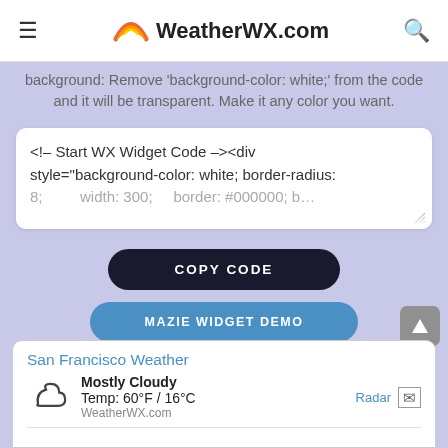WeatherWX.com
background: Remove 'background-color: white;' from the code and it will be transparent. Make it any color you want.
[Figure (screenshot): Code textarea showing: <!-- Start WX Widget Code --><div style="background-color: white; border-radius: 8; width: 300; border: #000000; border-...]
COPY CODE
MAZIE WIDGET DEMO
[Figure (screenshot): San Francisco Weather widget showing: Mostly Cloudy, Temp: 60°F / 16°C, WeatherWX.com, Radar link, with cloud icon]